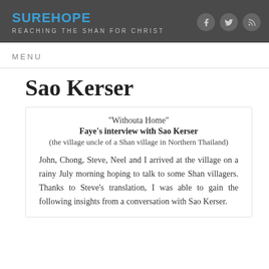SUREHOPE — REACHING THE SHAN FOR CHRIST
MENU
Sao Kerser
“Withouta Home”
Faye’s interview with Sao Kerser
(the village uncle of a Shan village in Northern Thailand)

John, Chong, Steve, Neel and I arrived at the village on a rainy July morning hoping to talk to some Shan villagers. Thanks to Steve’s translation, I was able to gain the following insights from a conversation with Sao Kerser.